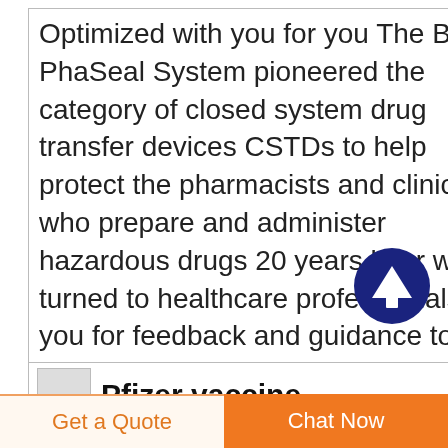Optimized with you for you The BD PhaSeal System pioneered the category of closed system drug transfer devices CSTDs to help protect the pharmacists and clinicians who prepare and administer hazardous drugs 20 years later we turned to healthcare professionals like you for feedback and guidance to optimize its every component The result is the BD PhaSeal Optima System a next
[Figure (illustration): Dark blue circle with white upward arrow icon (scroll-to-top button)]
Pfizer vaccine
Get a Quote
Chat Now